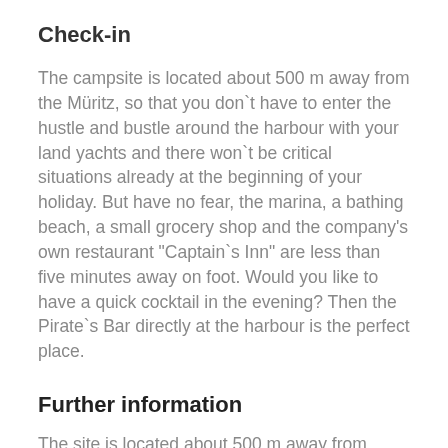Check-in
The campsite is located about 500 m away from the Müritz, so that you don`t have to enter the hustle and bustle around the harbour with your land yachts and there won`t be critical situations already at the beginning of your holiday. But have no fear, the marina, a bathing beach, a small grocery shop and the company's own restaurant "Captain`s Inn" are less than five minutes away on foot. Would you like to have a quick cocktail in the evening? Then the Pirate`s Bar directly at the harbour is the perfect place.
Further information
The site is located about 500 m away from